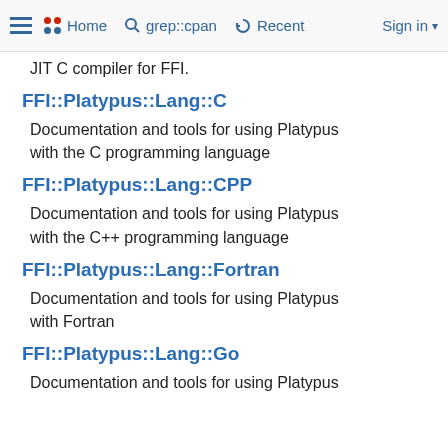Home  grep::cpan  Recent  Sign in
JIT C compiler for FFI.
FFI::Platypus::Lang::C
Documentation and tools for using Platypus with the C programming language
FFI::Platypus::Lang::CPP
Documentation and tools for using Platypus with the C++ programming language
FFI::Platypus::Lang::Fortran
Documentation and tools for using Platypus with Fortran
FFI::Platypus::Lang::Go
Documentation and tools for using Platypus